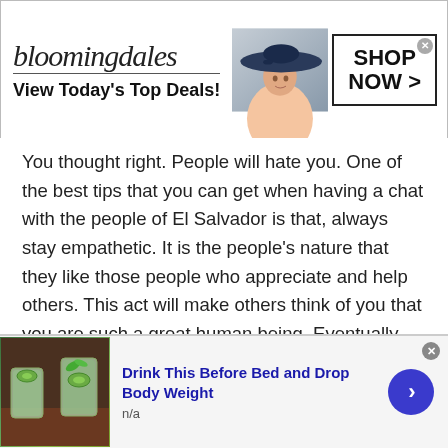[Figure (screenshot): Bloomingdale's advertisement banner with logo, 'View Today's Top Deals!' text, fashion model with large hat, and 'SHOP NOW >' button]
You thought right. People will hate you. One of the best tips that you can get when having a chat with the people of El Salvador is that, always stay empathetic. It is the people's nature that they like those people who appreciate and help others. This act will make others think of you that you are such a great human being. Eventually this will lead you to attract more audience towards you.
4. Be open about yourself:
[Figure (screenshot): Advertisement for 'Drink This Before Bed and Drop Body Weight' with image of drink in glasses with cucumber/mint, n/a text, and blue arrow button]